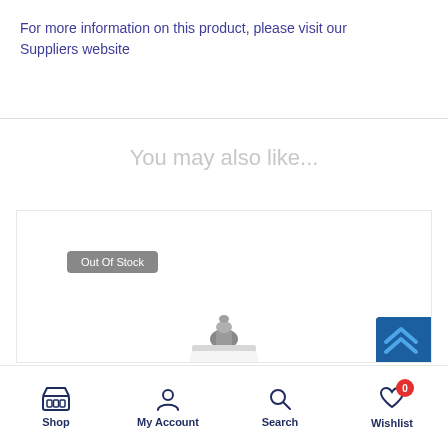For more information on this product, please visit our Suppliers website
You may also like...
[Figure (photo): Product card showing a Plexus bottle with 'Out Of Stock' badge and a partial blue element at bottom right]
Shop | My Account | Search | Wishlist (0)